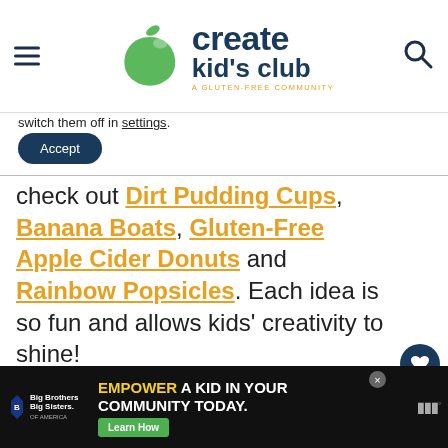create kid's club — A GLUTEN-FREE COMMUNITY
switch them off in settings.
Accept
check out Dirt Pudding Cups, Banana Boats, Gluten-Free Apple Cider Donuts and Rainbow Popsicles. Each idea is so fun and allows kids' creativity to shine!
[Figure (photo): Close-up photo of a pink/salmon colored sorbet or ice cream scoop with green mint leaf garnish on a blurred background]
WHAT'S NEXT → How To Cut Watermelon...
[Figure (infographic): Advertisement banner: Big Brothers Big Sisters logo with text EMPOWER A KID IN YOUR COMMUNITY TODAY. Learn How button]